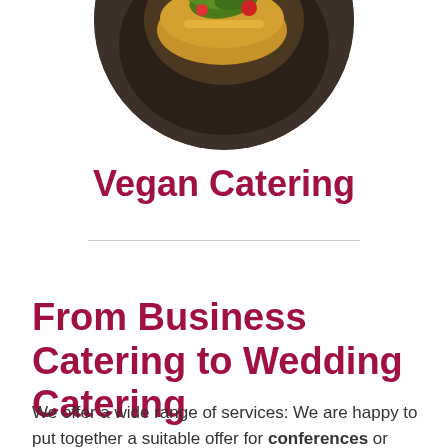[Figure (photo): Circular cropped food photo showing vegan dish with greens on a dark plate]
Vegan Catering
From Business Catering to Wedding Catering
We offer a wide range of services: We are happy to put together a suitable offer for conferences or large private events, from finger food and cocktail catering